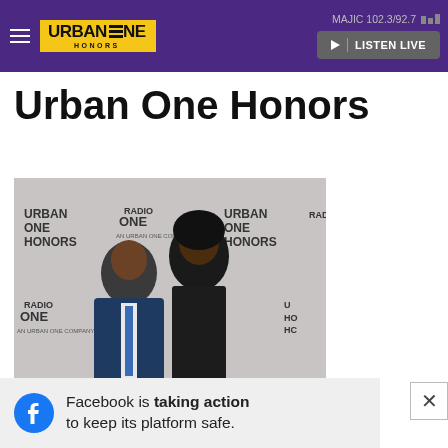MAJIC 102.3/92.7 | LISTEN LIVE — Urban One Honors nav bar
Urban One Honors
[Figure (photo): Two people posing in front of an Urban One Honors / Radio One branded step-and-repeat backdrop. The man on the left wears a navy suit with a blue tie; the woman on the right wears a black sparkly outfit. Both are smiling.]
Facebook is taking action to keep its platform safe.